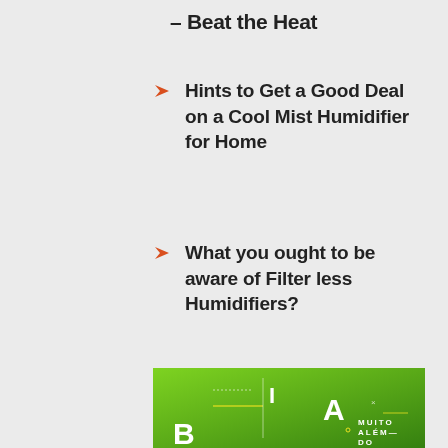– Beat the Heat
Hints to Get a Good Deal on a Cool Mist Humidifier for Home
What you ought to be aware of Filter less Humidifiers?
[Figure (photo): Advertisement image with green background showing a smiling woman with text 'I A B MUITO ALÉM DO']